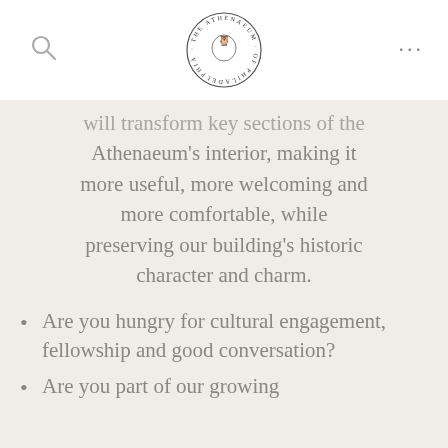The Athenaeum of Philadelphia
will transform key sections of the Athenaeum's interior, making it more useful, more welcoming and more comfortable, while preserving our building's historic character and charm.
Are you hungry for cultural engagement, fellowship and good conversation?
Are you part of our growing